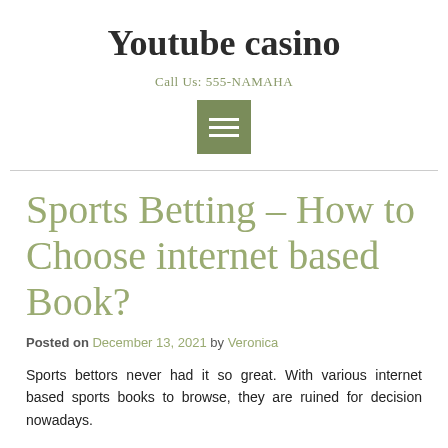Youtube casino
Call Us: 555-NAMAHA
[Figure (other): Hamburger menu icon — three horizontal white lines on a green-grey square background]
Sports Betting – How to Choose internet based Book?
Posted on December 13, 2021 by Veronica
Sports bettors never had it so great. With various internet based sports books to browse, they are ruined for decision nowadays.